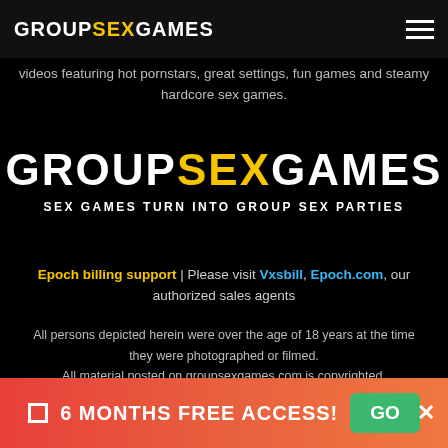GROUPSEXGAMES
videos featuring hot pornstars, great settings, fun games and steamy hardcore sex games.
[Figure (logo): GROUPSEXGAMES logo with yellow SEX text and white GROUP and GAMES text, subtitle: SEX GAMES TURN INTO GROUP SEX PARTIES]
Epoch billing support | Please visit Vxsbill, Epoch.com, our authorized sales agents
All persons depicted herein were over the age of 18 years at the time they were photographed or filmed. All material posted on groupsexgames.com is copyrighted. Copyright 2022 International Media Company BV. - All Rights Reserved. Website is owned and provided by International Media Company BV, Uitgeest, The Netherlands
6 MONTHS FREE ACCESS! GO